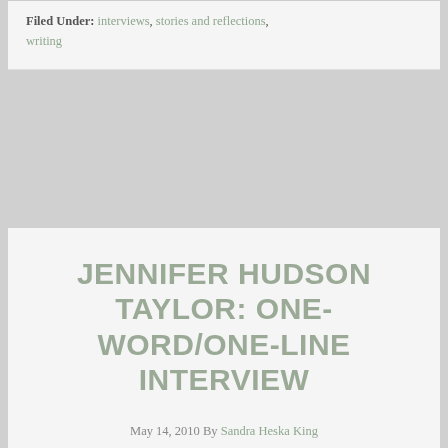Filed Under: interviews, stories and reflections, writing
JENNIFER HUDSON TAYLOR: ONE-WORD/ONE-LINE INTERVIEW
May 14, 2010 By Sandra Heska King
Jennifer Hudson Taylor writes historical and contemporary Christian fiction set in Europe